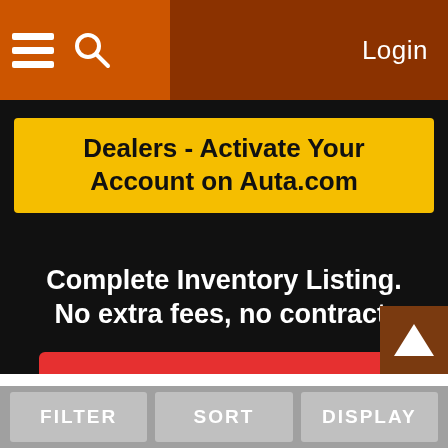☰  🔍  Login
[Figure (screenshot): Website screenshot of Auta.com dealer activation page with orange header, yellow banner, hero text and red call-to-action button]
Dealers - Activate Your Account on Auta.com
Complete Inventory Listing. No extra fees, no contract.
Get Started →
FILTER  SORT  DISPLAY